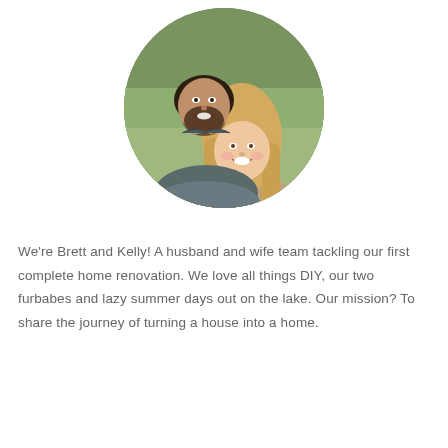[Figure (photo): Circular cropped photo of a smiling couple — a bearded man in a grey jacket leaning over a blonde woman, both smiling, with a blurred green outdoor background.]
We're Brett and Kelly! A husband and wife team tackling our first complete home renovation. We love all things DIY, our two furbabes and lazy summer days out on the lake. Our mission? To share the journey of turning a house into a home.